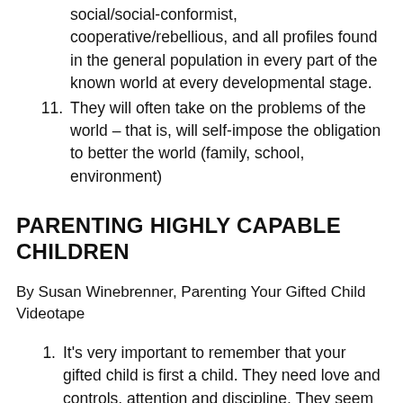social/social-conformist, cooperative/rebellious, and all profiles found in the general population in every part of the known world at every developmental stage.
11. They will often take on the problems of the world – that is, will self-impose the obligation to better the world (family, school, environment)
PARENTING HIGHLY CAPABLE CHILDREN
By Susan Winebrenner, Parenting Your Gifted Child Videotape
1. It's very important to remember that your gifted child is first a child. They need love and controls, attention and discipline. They seem